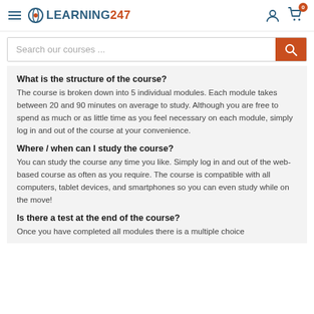LEARNING247
Search our courses ...
What is the structure of the course?
The course is broken down into 5 individual modules. Each module takes between 20 and 90 minutes on average to study. Although you are free to spend as much or as little time as you feel necessary on each module, simply log in and out of the course at your convenience.
Where / when can I study the course?
You can study the course any time you like. Simply log in and out of the web-based course as often as you require. The course is compatible with all computers, tablet devices, and smartphones so you can even study while on the move!
Is there a test at the end of the course?
Once you have completed all modules there is a multiple choice